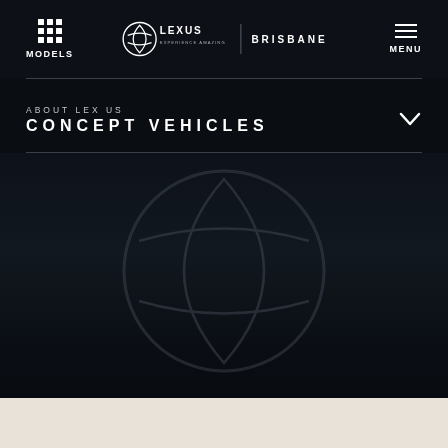MODELS | LEXUS EXPERIENCE AMAZING BRISBANE | MENU
ABOUT LEXUS CONCEPT VEHICLES
[Figure (logo): Large Lexus spindle logo displayed in dark navy background, semi-transparent]
[Figure (illustration): Beige/cream footer band at bottom of page]